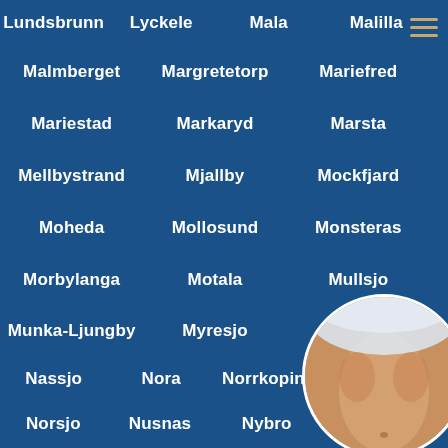Lundsbrunn
Lyckele
Mala
Malilla
Malmberget
Margretetorp
Mariefred
Mariestad
Markaryd
Marsta
Mellbystrand
Mjallby
Mockfjard
Moheda
Mollosund
Monsteras
Morbylanga
Motala
Mullsjo
Munka-Ljungby
Myresjo
Nas
Nassjo
Nora
Norrkoping
Norrtalje
Norsjo
Nusnas
Nybro
Nykvarn
Nynashamn
Ockelbo
Odeshog
Olofstrom
[Figure (photo): Circular cropped photo of a human torso, partially clothed at top]